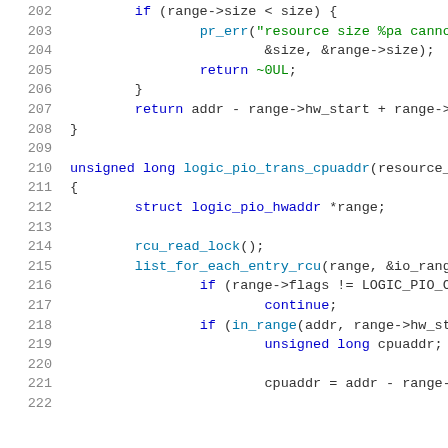[Figure (screenshot): Source code listing showing C code lines 202-222, including a function fragment with range size check and the beginning of logic_pio_trans_cpuaddr function with struct declaration, rcu_read_lock, and list iteration logic.]